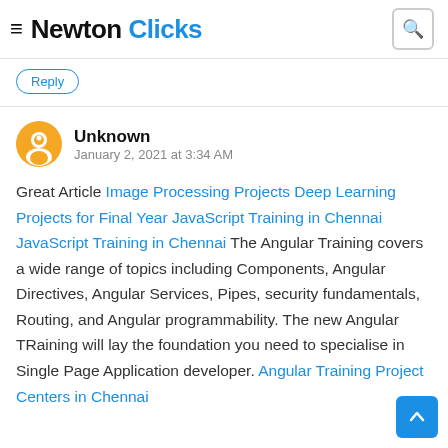Newton Clicks
Reply
Unknown
January 2, 2021 at 3:34 AM
Great Article Image Processing Projects Deep Learning Projects for Final Year JavaScript Training in Chennai JavaScript Training in Chennai The Angular Training covers a wide range of topics including Components, Angular Directives, Angular Services, Pipes, security fundamentals, Routing, and Angular programmability. The new Angular TRaining will lay the foundation you need to specialise in Single Page Application developer. Angular Training Project Centers in Chennai